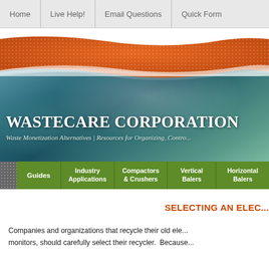Home | Live Help! | Email Questions | Quick Form
[Figure (screenshot): WasteCare Corporation website banner with orange swoosh and teal ocean background]
WASTECARE CORPORATION
Waste Monetization Alternatives | Resources for Organizing, Contro...
Guides | Industry Applications | Compactors & Crushers | Vertical Balers | Horizontal Balers
SELECTING AN ELEC...
Companies and organizations that recycle their old ele... monitors, should carefully select their recycler. Because...